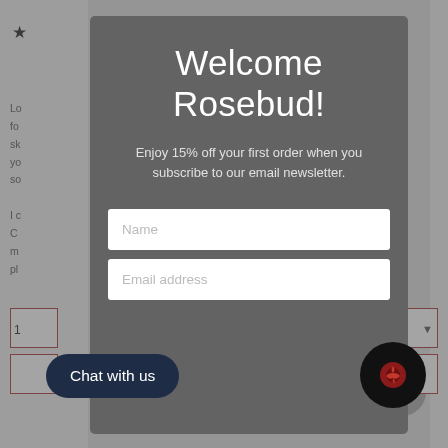[Figure (screenshot): Background webpage content partially visible behind modal overlay, showing star rating, text fragments, and UI elements]
Welcome Rosebud!
Enjoy 15% off your first order when you subscribe to our email newsletter.
Name
Email address
Chat with us